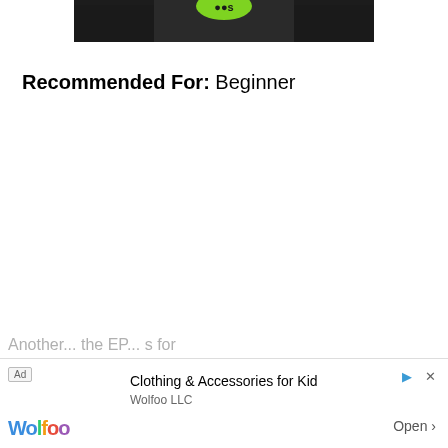[Figure (photo): Partial view of an album or book cover showing dark/black and white image with a green circular logo element at top center]
Recommended For: Beginner
Anothe... the EP... s for
[Figure (other): Advertisement banner for Wolfoo LLC - Clothing & Accessories for Kid with Wolfoo colorful logo and Open button]